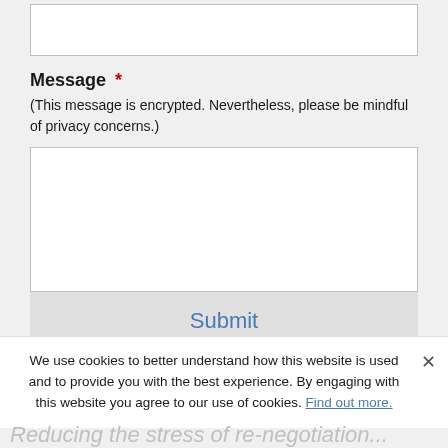Message *
(This message is encrypted. Nevertheless, please be mindful of privacy concerns.)
Submit
We use cookies to better understand how this website is used and to provide you with the best experience. By engaging with this website you agree to our use of cookies. Find out more.